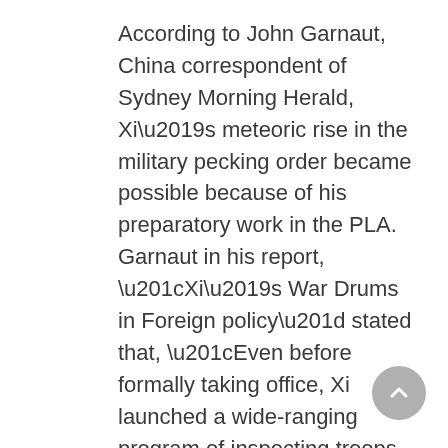According to John Garnaut, China correspondent of Sydney Morning Herald, Xi’s meteoric rise in the military pecking order became possible because of his preparatory work in the PLA. Garnaut in his report, “Xi’s War Drums in Foreign policy” stated that, “Even before formally taking office, Xi launched a wide-ranging program of inspecting troops, cementing key military relationships, and muscling up against Japan”.
Xi is no stranger to the rank and file of the PLA. Even before he became the CMC Chairman in the fall of 2012, Xi served as its Vice Chairman for several